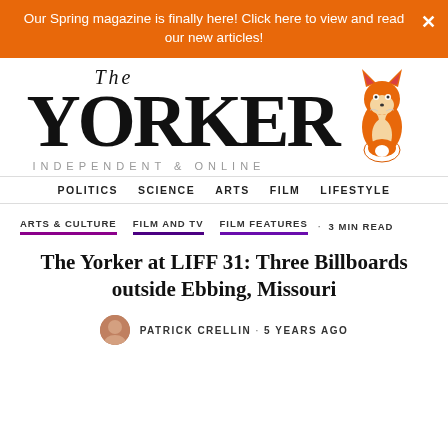Our Spring magazine is finally here! Click here to view and read our new articles!
[Figure (logo): The Yorker logo with fox illustration. Text reads 'THE YORKER INDEPENDENT & ONLINE' with a stylized fox sitting to the right.]
POLITICS  SCIENCE  ARTS  FILM  LIFESTYLE
ARTS & CULTURE  FILM AND TV  FILM FEATURES · 3 MIN READ
The Yorker at LIFF 31: Three Billboards outside Ebbing, Missouri
PATRICK CRELLIN · 5 YEARS AGO